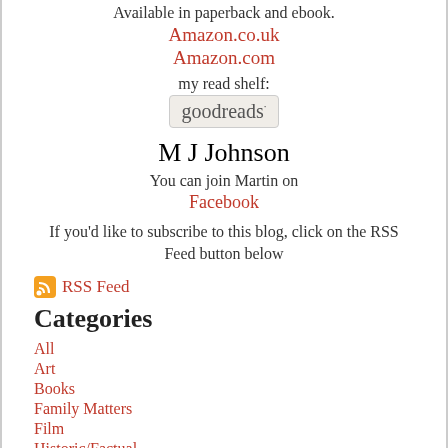Available in paperback and ebook.
Amazon.co.uk
Amazon.com
my read shelf:
[Figure (logo): Goodreads logo button showing 'goodreads' text on a beige/tan background]
M J Johnson
You can join Martin on
Facebook
If you'd like to subscribe to this blog, click on the RSS Feed button below
RSS Feed
Categories
All
Art
Books
Family Matters
Film
Historic/Factual
Might Raise A Smile